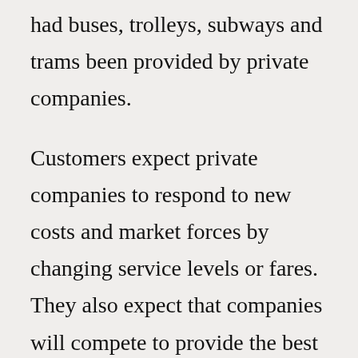had buses, trolleys, subways and trams been provided by private companies.
Customers expect private companies to respond to new costs and market forces by changing service levels or fares. They also expect that companies will compete to provide the best service, for the best price. When a business provides a service it is seen as a tradeoff between inputs and outputs designed to maximize profit and provide utility to consumers. On the other hand, when a government provides services, people